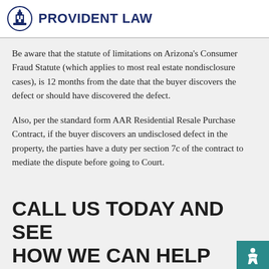PROVIDENT LAW
Be aware that the statute of limitations on Arizona's Consumer Fraud Statute (which applies to most real estate nondisclosure cases), is 12 months from the date that the buyer discovers the defect or should have discovered the defect.
Also, per the standard form AAR Residential Resale Purchase Contract, if the buyer discovers an undisclosed defect in the property, the parties have a duty per section 7c of the contract to mediate the dispute before going to Court.
CALL US TODAY AND SEE HOW WE CAN HELP